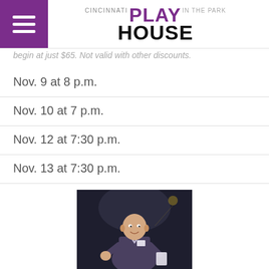Cincinnati Playhouse in the Park
begin at just $65. Not valid with other discounts.
Nov. 9 at 8 p.m.
Nov. 10 at 7 p.m.
Nov. 12 at 7:30 p.m.
Nov. 13 at 7:30 p.m.
[Figure (photo): A bald man in a dark suit with a name badge, speaking or performing on a dark stage, holding papers in one hand and gesturing with the other.]